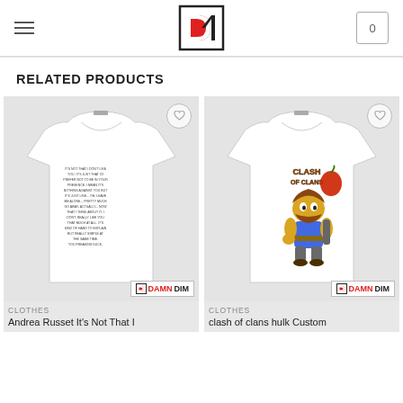DamnDim store header with logo and cart
RELATED PRODUCTS
[Figure (photo): White t-shirt with printed text 'It's not that I don't like you...' with DamnDim badge]
[Figure (photo): White t-shirt with Clash of Clans hulk character graphic and DamnDim badge]
CLOTHES
Andrea Russet It's Not That I
CLOTHES
clash of clans hulk Custom